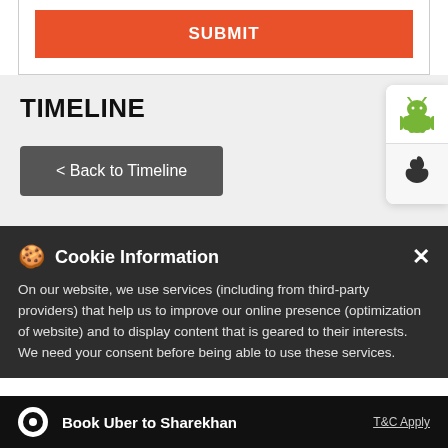[Figure (screenshot): Submit button - orange rectangle with white SUBMIT text]
TIMELINE
[Figure (screenshot): Back to Timeline button - dark grey rounded rectangle]
[Figure (screenshot): Android app icon on white panel]
[Figure (screenshot): Apple app icon on light grey panel]
Cookie Information
On our website, we use services (including from third-party providers) that help us to improve our online presence (optimization of website) and to display content that is geared to their interests. We need your consent before being able to use these services.
Book Uber to Sharekhan
T&C Apply